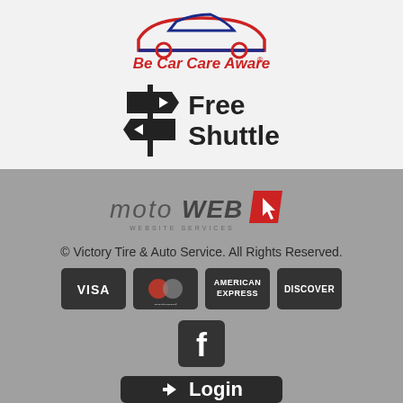[Figure (logo): Be Car Care Aware logo with red and blue car outline and red italic text]
[Figure (infographic): Black directional sign post icon with Free Shuttle text]
[Figure (logo): MotoWeb Website Services logo with red parallelogram and white cursor icon]
© Victory Tire & Auto Service. All Rights Reserved.
[Figure (infographic): Payment method badges: Visa, Mastercard, American Express, Discover]
[Figure (logo): Facebook logo icon in dark square rounded button]
[Figure (infographic): Login button with arrow icon and Login text]